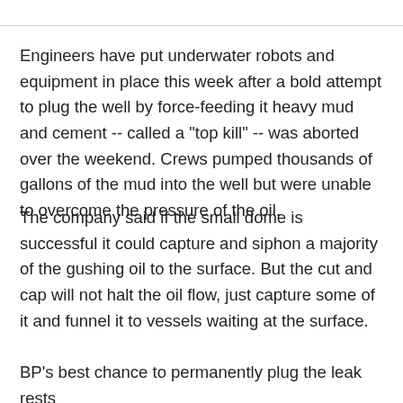Engineers have put underwater robots and equipment in place this week after a bold attempt to plug the well by force-feeding it heavy mud and cement -- called a "top kill" -- was aborted over the weekend. Crews pumped thousands of gallons of the mud into the well but were unable to overcome the pressure of the oil.
The company said if the small dome is successful it could capture and siphon a majority of the gushing oil to the surface. But the cut and cap will not halt the oil flow, just capture some of it and funnel it to vessels waiting at the surface.
BP's best chance to permanently plug the leak rests